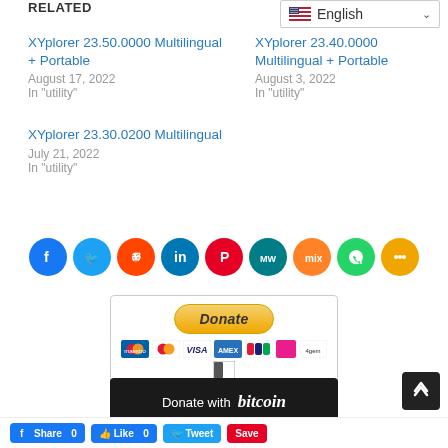RELATED
XYplorer 23.50.0000 Multilingual + Portable
August 17, 2022
In "utility"
XYplorer 23.40.0000 Multilingual + Portable
August 3, 2022
In "utility"
XYplorer 23.30.0200 Multilingual
July 21, 2022
In "utility"
[Figure (screenshot): Language dropdown selector showing English with US flag]
[Figure (infographic): Row of 9 social media share icons: Facebook, Twitter, Reddit, LinkedIn, Pinterest, MeWe, Mix, WhatsApp, Share (more)]
[Figure (screenshot): PayPal Donate button with payment method icons below]
[Figure (screenshot): Dark button: Donate with bitcoin]
[Figure (screenshot): Bottom social sharing bar with Share, Like, Tweet, Save buttons and scroll-to-top button]